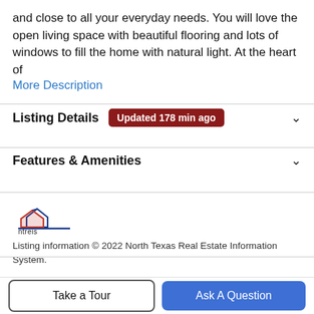and close to all your everyday needs. You will love the open living space with beautiful flooring and lots of windows to fill the home with natural light. At the heart of
More Description
Listing Details Updated 178 min ago
Features & Amenities
[Figure (logo): NTREIS logo — stylized house shape in red and blue, with text 'ntreis' below]
Listing information © 2022 North Texas Real Estate Information System.
Schools
Take a Tour
Ask A Question